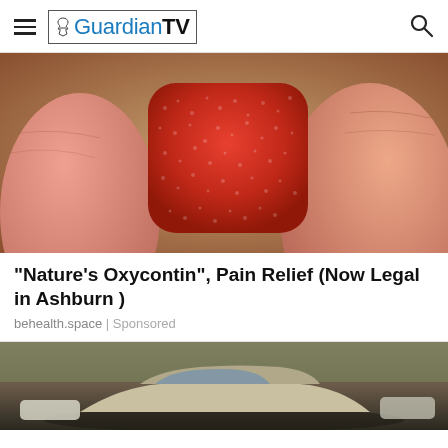GuardianTV
[Figure (photo): Close-up macro photo of a red sugar-coated gummy candy being held between two fingers, showing textured sugary surface in detail]
"Nature's Oxycontin", Pain Relief (Now Legal in Ashburn )
behealth.space | Sponsored
[Figure (photo): Photo of cars in a parking area or accident scene with trees in background]